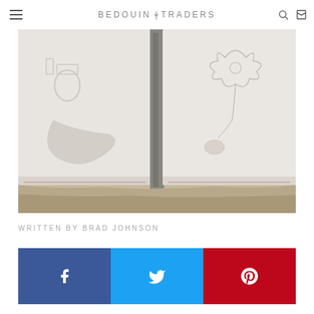BEDOUIN TRADERS
[Figure (photo): Two white/light grey linen or cotton tote bags with embossed decorative patterns, laid flat on a stone surface outdoors in sunlight. The bags are side by side, showing embroidered or relief designs.]
WRITTEN BY BRAD JOHNSON
[Figure (infographic): Social sharing bar with three buttons: Facebook (blue), Twitter (light blue), Pinterest (red), each showing the respective brand icon in white.]